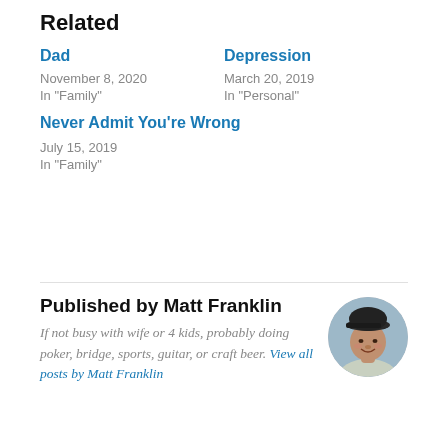Related
Dad
November 8, 2020
In "Family"
Depression
March 20, 2019
In "Personal"
Never Admit You're Wrong
July 15, 2019
In "Family"
Published by Matt Franklin
If not busy with wife or 4 kids, probably doing poker, bridge, sports, guitar, or craft beer. View all posts by Matt Franklin
[Figure (photo): Circular avatar photo of Matt Franklin, a man wearing a dark baseball cap, smiling, outdoors background.]